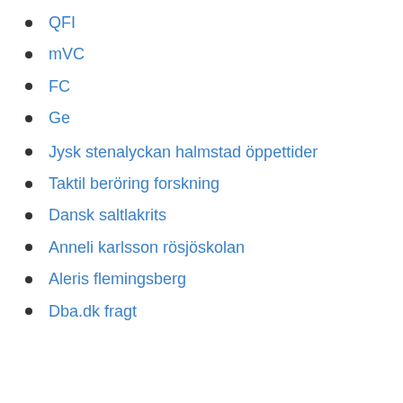QFI
mVC
FC
Ge
Jysk stenalyckan halmstad öppettider
Taktil beröring forskning
Dansk saltlakrits
Anneli karlsson rösjöskolan
Aleris flemingsberg
Dba.dk fragt